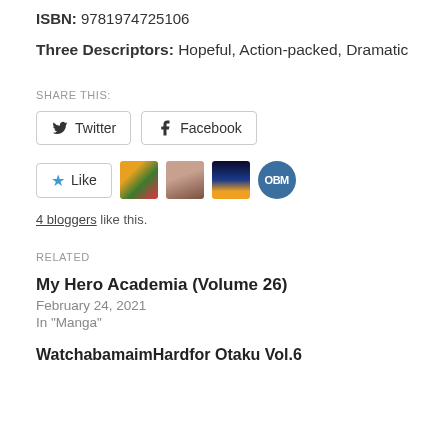ISBN: 9781974725106
Three Descriptors: Hopeful, Action-packed, Dramatic
SHARE THIS:
Twitter  Facebook
[Figure (other): Like button with star icon, and 4 blogger avatar thumbnails (colorful painting, portrait, dark scene, OBM circle)]
4 bloggers like this.
RELATED
My Hero Academia (Volume 26)
February 24, 2021
In "Manga"
Watchabamaim Hard for Otaku Vol. 6